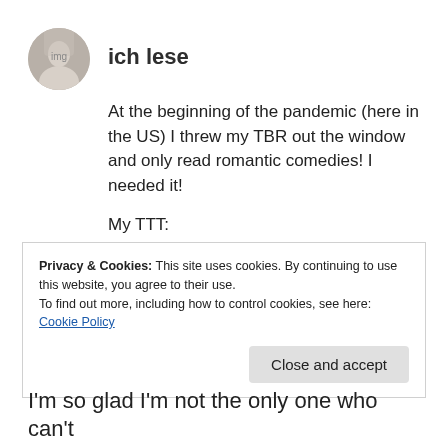ich lese
At the beginning of the pandemic (here in the US) I threw my TBR out the window and only read romantic comedies! I needed it!
My TTT:
https://ichlese.blog/2020/07/28/top-ten-tuesday-my-favorite-seasonal-book-movie-sustenance-pairings/.
Privacy & Cookies: This site uses cookies. By continuing to use this website, you agree to their use.
To find out more, including how to control cookies, see here: Cookie Policy
I'm so glad I'm not the only one who can't